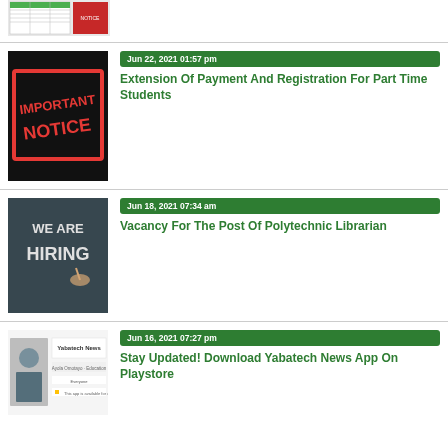[Figure (screenshot): Partial thumbnail of a document/notice at top of page]
[Figure (photo): Important Notice stamp image on black background]
Jun 22, 2021 01:57 pm
Extension Of Payment And Registration For Part Time Students
[Figure (photo): We Are Hiring chalkboard image]
Jun 18, 2021 07:34 am
Vacancy For The Post Of Polytechnic Librarian
[Figure (screenshot): Yabatech News app screenshot]
Jun 16, 2021 07:27 pm
Stay Updated! Download Yabatech News App On Playstore